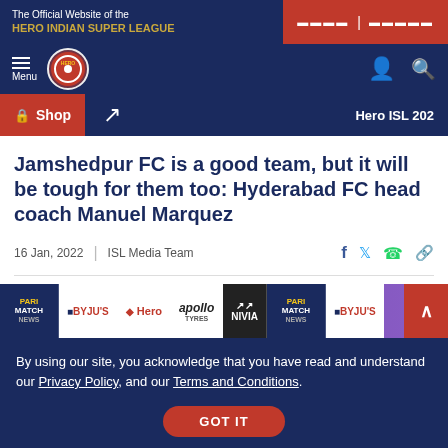The Official Website of the HERO INDIAN SUPER LEAGUE
Jamshedpur FC is a good team, but it will be tough for them too: Hyderabad FC head coach Manuel Marquez
16 Jan, 2022 | ISL Media Team
[Figure (screenshot): Sponsor logos strip: PARIMATCH NEWS, BYJU'S, Hero, apollo TYRES, NIVIA, PARIMATCH NEWS, BYJU'S]
By using our site, you acknowledge that you have read and understand our Privacy Policy, and our Terms and Conditions.
GOT IT